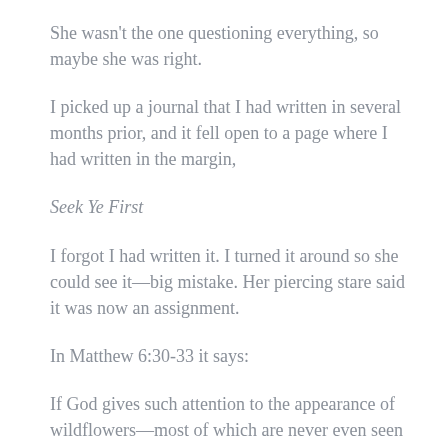She wasn't the one questioning everything, so maybe she was right.
I picked up a journal that I had written in several months prior, and it fell open to a page where I had written in the margin,
Seek Ye First
I forgot I had written it. I turned it around so she could see it—big mistake. Her piercing stare said it was now an assignment.
In Matthew 6:30-33 it says:
If God gives such attention to the appearance of wildflowers—most of which are never even seen—don't you think he'll attend to you, take pride in you, do his best